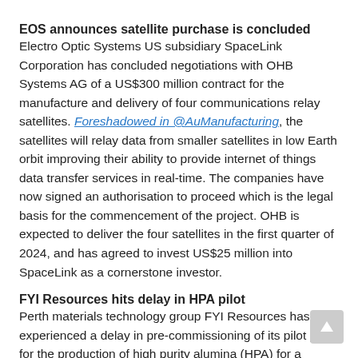EOS announces satellite purchase is concluded
Electro Optic Systems US subsidiary SpaceLink Corporation has concluded negotiations with OHB Systems AG of a US$300 million contract for the manufacture and delivery of four communications relay satellites. Foreshadowed in @AuManufacturing, the satellites will relay data from smaller satellites in low Earth orbit improving their ability to provide internet of things data transfer services in real-time. The companies have now signed an authorisation to proceed which is the legal basis for the commencement of the project. OHB is expected to deliver the four satellites in the first quarter of 2024, and has agreed to invest US$25 million into SpaceLink as a cornerstone investor.
FYI Resources hits delay in HPA pilot
Perth materials technology group FYI Resources has experienced a delay in pre-commissioning of its pilot plant for the production of high purity alumina (HPA) for a planned extended plant production campaign. The company's metallurgical team encountered a potential safety issue with gas regulators caused by a minor fault. The fault will delay